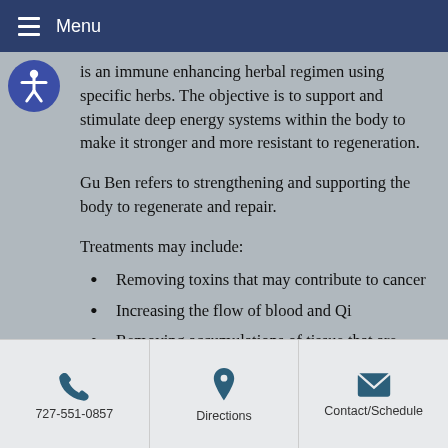Menu
is an immune enhancing herbal regimen using specific herbs. The objective is to support and stimulate deep energy systems within the body to make it stronger and more resistant to regeneration.
Gu Ben refers to strengthening and supporting the body to regenerate and repair.
Treatments may include:
Removing toxins that may contribute to cancer
Increasing the flow of blood and Qi
Removing accumulations of tissue that are believed to be the tumor
727-551-0857 | Directions | Contact/Schedule